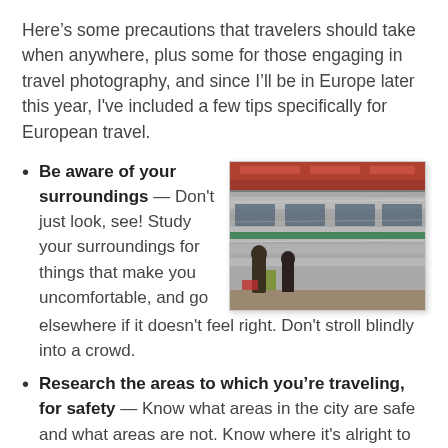Here’s some precautions that travelers should take when anywhere, plus some for those engaging in travel photography, and since I’ll be in Europe later this year, I’ve included a few tips specifically for European travel.
Be aware of your surroundings — Don’t just look, see! Study your surroundings for things that make you uncomfortable, and go elsewhere if it doesn’t feel right. Don’t stroll blindly into a crowd.
[Figure (photo): A blurred motion photo of a subway/metro train at a station platform with people waiting]
Research the areas to which you’re traveling, for safety — Know what areas in the city are safe and what areas are not. Know where it’s alright to go during the day and where to avoid at night. Check with the concierge at your hotel. Talk to your travel agent. Use travel books. Review the US State Department’s “Country Specific Information”.